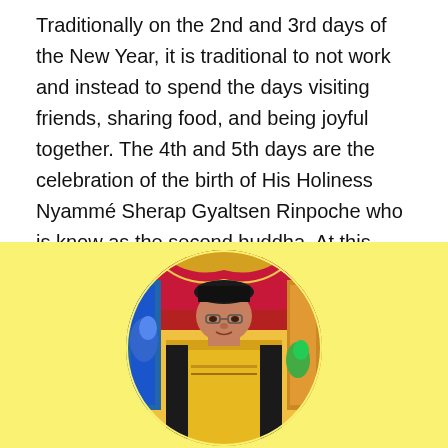Traditionally on the 2nd and 3rd days of the New Year, it is traditional to not work and instead to spend the days visiting friends, sharing food, and being joyful together. The 4th and 5th days are the celebration of the birth of His Holiness Nyammé Sherap Gyaltsen Rinpoche who is know as the second buddha. At this time in the monasteries, the main prayer flag for the year is raised and there is a return to strict monastic discipline after the relaxed celebratory atmosphere of the previous few days.
[Figure (photo): A circular cropped photograph of His Holiness Nyammé Sherap Gyaltsen Rinpoche seated on a throne, wearing golden and black ceremonial robes with a black hat, against an ornate red and gold decorative backdrop with colorful traditional Tibetan decorations. The photo is set against a bright yellow background.]